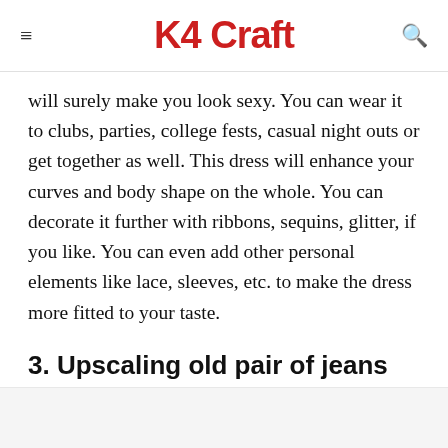K4 Craft
will surely make you look sexy. You can wear it to clubs, parties, college fests, casual night outs or get together as well. This dress will enhance your curves and body shape on the whole. You can decorate it further with ribbons, sequins, glitter, if you like. You can even add other personal elements like lace, sleeves, etc. to make the dress more fitted to your taste.
3. Upscaling old pair of jeans
[Figure (photo): Image placeholder area for upscaling old pair of jeans content]